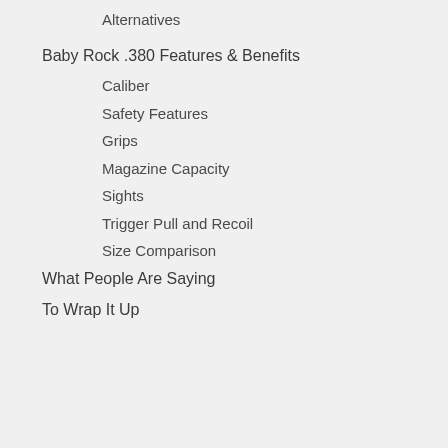Alternatives
Baby Rock .380 Features & Benefits
Caliber
Safety Features
Grips
Magazine Capacity
Sights
Trigger Pull and Recoil
Size Comparison
What People Are Saying
To Wrap It Up